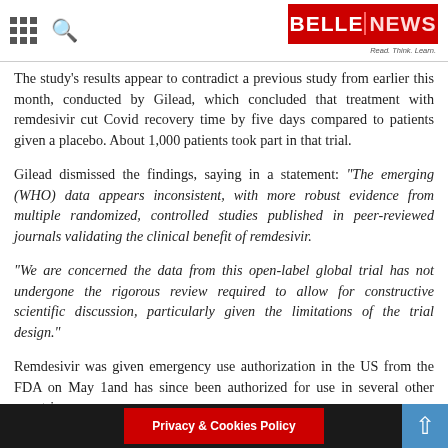BELLENEWS — Read. Think. Learn.
The study's results appear to contradict a previous study from earlier this month, conducted by Gilead, which concluded that treatment with remdesivir cut Covid recovery time by five days compared to patients given a placebo. About 1,000 patients took part in that trial.
Gilead dismissed the findings, saying in a statement: "The emerging (WHO) data appears inconsistent, with more robust evidence from multiple randomized, controlled studies published in peer-reviewed journals validating the clinical benefit of remdesivir.
"We are concerned the data from this open-label global trial has not undergone the rigorous review required to allow for constructive scientific discussion, particularly given the limitations of the trial design."
Remdesivir was given emergency use authorization in the US from the FDA on May 1and has since been authorized for use in several other countries.
Privacy & Cookies Policy